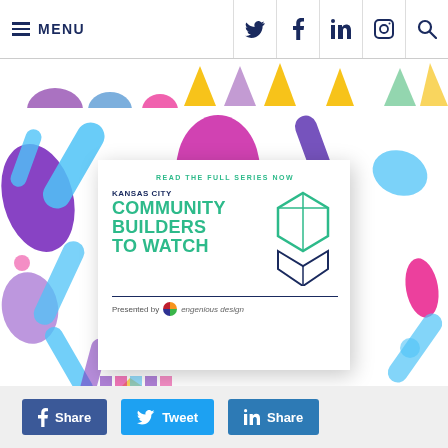MENU | social icons (Twitter, Facebook, LinkedIn, Instagram, Search)
[Figure (illustration): Colorful abstract shapes banner strip with triangles in yellow, purple, green on white background]
[Figure (illustration): Kansas City Community Builders to Watch promotional graphic with colorful abstract shapes (purple, blue, magenta, yellow diagonal bars and teardrops) on white background, featuring a white card with green cube logo, text 'READ THE FULL SERIES NOW', 'KANSAS CITY', 'COMMUNITY BUILDERS TO WATCH', 'Presented by engenious design']
READ THE FULL SERIES NOW
KANSAS CITY COMMUNITY BUILDERS TO WATCH
Presented by engenious design